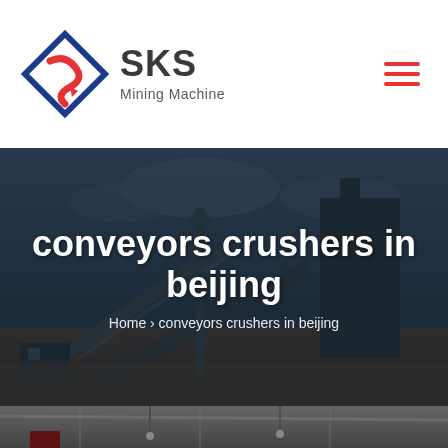[Figure (logo): SKS Mining Machine logo with diamond/arrow icon in red and blue]
[Figure (photo): Mining conveyor and crusher site at dusk, dark overlay, serves as hero banner background]
conveyors crushers in beijing
Home > conveyors crushers in beijing
[Figure (photo): Indoor industrial facility with overhead structures and machinery, partially visible at bottom]